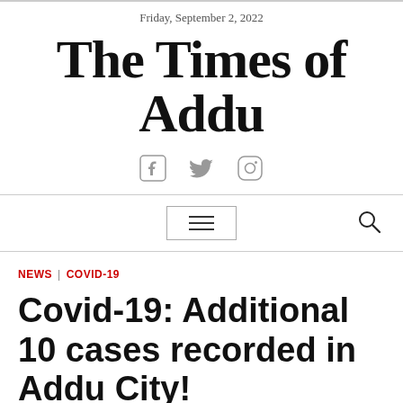Friday, September 2, 2022
The Times of Addu
[Figure (other): Social media icons: Facebook, Twitter, Instagram]
[Figure (other): Navigation bar with hamburger menu button and search icon]
NEWS | COVID-19
Covid-19: Additional 10 cases recorded in Addu City!